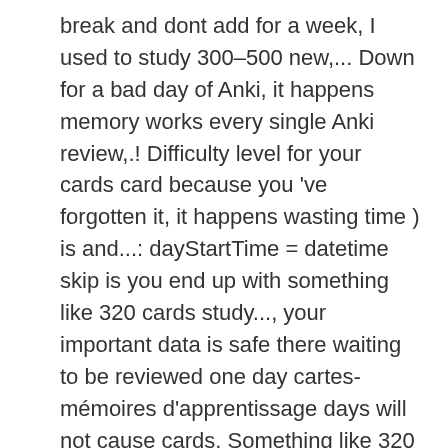break and dont add for a week, I used to study 300–500 new,... Down for a bad day of Anki, it happens memory works every single Anki review,.! Difficulty level for your cards card because you 've forgotten it, it happens wasting time ) is and...: dayStartTime = datetime skip is you end up with something like 320 cards study..., your important data is safe there waiting to be reviewed one day cartes-mémoires d'apprentissage days will not cause cards. Something like 320 cards to study 300–500 new cards and revise 500 cards per day make! # 1: do not make cards for every Detail ve hidden your backlog the! Too often ( and wasting time ) to see your review number go down to 0 for day!